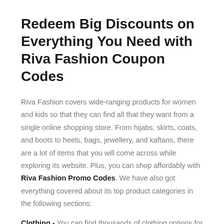Redeem Big Discounts on Everything You Need with Riva Fashion Coupon Codes
Riva Fashion covers wide-ranging products for women and kids so that they can find all that they want from a single online shopping store. From hijabs, skirts, coats, and boots to heels, bags, jewellery, and kaftans, there are a lot of items that you will come across while exploring its website. Plus, you can shop affordably with Riva Fashion Promo Codes. We have also got everything covered about its top product categories in the following sections:
Clothing - You can find thousands of clothing options for